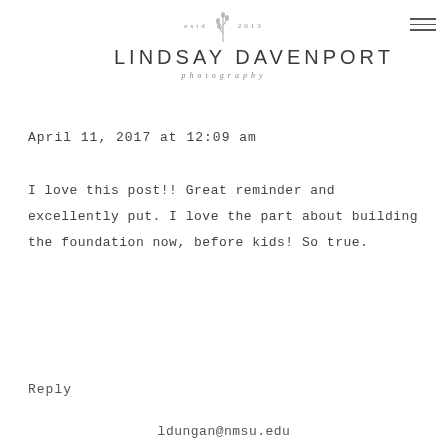[Figure (logo): Lindsay Davenport Photography logo with 'estd 2013' text and botanical illustration, plus hamburger menu icon in top right]
April 11, 2017 at 12:09 am
I love this post!! Great reminder and excellently put. I love the part about building the foundation now, before kids! So true.
Reply
ldungan@nmsu.edu